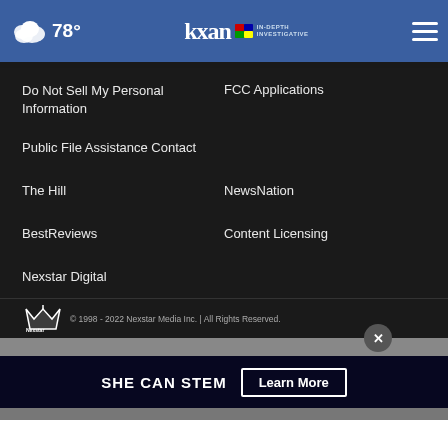78° | KXAN NBC IN-DEPTH INVESTIGATIVE
Do Not Sell My Personal Information
FCC Applications
Public File Assistance Contact
The Hill
NewsNation
BestReviews
Content Licensing
Nexstar Digital
© 1998 - 2022 Nexstar Media Inc. | All Rights Reserved.
[Figure (infographic): SHE CAN STEM advertisement banner with Learn More button]